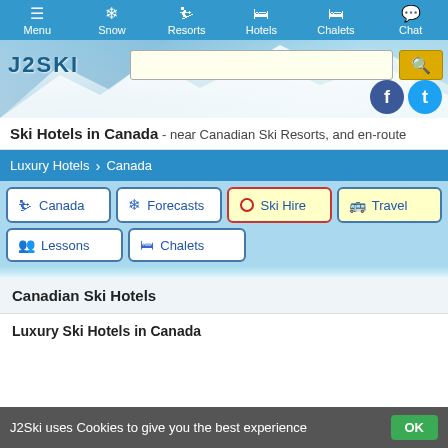Menu | Snow | Resorts | Hotels | Chalets | Chat
[Figure (screenshot): J2Ski website header with logo, search bar, mountain background, Facebook and Twitter icons]
Ski Hotels in Canada - near Canadian Ski Resorts, and en-route
Luxury Hotels > Canada
Canada | Forecasts | Ski Hire | Travel | Lessons | Chalets
Canadian Ski Hotels
Luxury Ski Hotels in Canada
J2Ski uses Cookies to give you the best experience  OK